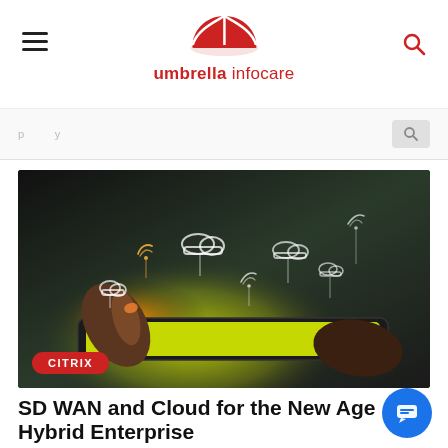umbrella infocare
[Figure (screenshot): Partially visible search bar/navigation area below the header]
[Figure (photo): Dark photo of hands touching a glowing tablet with cloud and wifi icons floating above it]
CITRIX
SD WAN and Cloud for the New Age Hybrid Enterprise